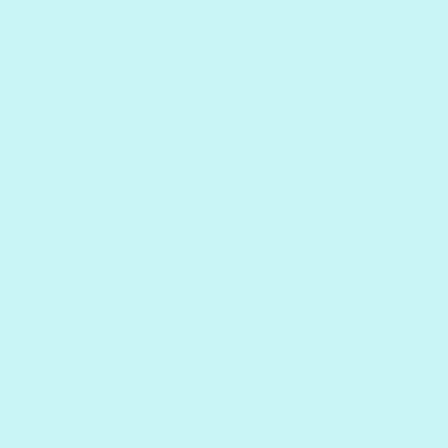offshoot that has faint theological origins in Calvinism. then perverts it beyond all recognition: "God wants to m would lead to a drop in attendance for such churches, as wonder that many of the feel-good TV "clergymen" loo "These preachers are pimps of false hope and salvation referred to this materialistic syndrome exemplified by O
Green acres is the place to be!
On my way out to help with Dave Rapp's garden last Sa friend Matthew, who was driving, to stop so I could tak
[Figure (photo): An idyllic pastoral landscape with rolling green fields, white farm buildings/barn in the middle ground, trees on the right, mountains in the background, and a partly cloudy blue sky.]
An idyllic horse farm west of Weyers Ca size version.
Land spreadin' out so far an